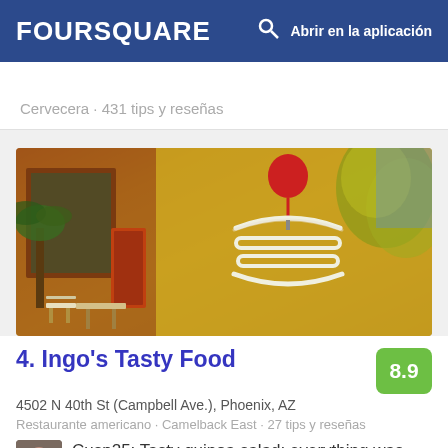FOURSQUARE  Abrir en la aplicación
Cervecera · 431 tips y reseñas
[Figure (photo): Exterior photo of Ingo's Tasty Food restaurant showing a neon burger sign and green plants]
4. Ingo's Tasty Food
8.9
4502 N 40th St (Campbell Ave.), Phoenix, AZ
Restaurante americano · Camelback East · 27 tips y reseñas
Cusp25: Tasty quinoa salad; everything was fresh and delicious